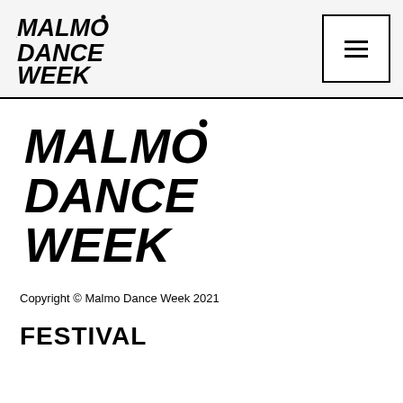[Figure (logo): Malmo Dance Week logo in header - bold brush-style black text reading MALMO DANCE WEEK stacked]
[Figure (other): Hamburger menu button - square border with three horizontal lines icon]
[Figure (logo): Large Malmo Dance Week logo in main content area - bold brush-style black text reading MALMO DANCE WEEK stacked]
Copyright © Malmo Dance Week 2021
FESTIVAL